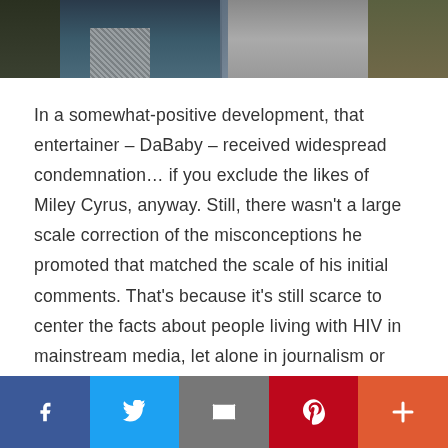[Figure (photo): Partial photo of two people outdoors, one wearing a dark jacket and patterned scarf, the other in grey clothing, cropped to show torsos only.]
In a somewhat-positive development, that entertainer – DaBaby – received widespread condemnation… if you exclude the likes of Miley Cyrus, anyway. Still, there wasn't a large scale correction of the misconceptions he promoted that matched the scale of his initial comments. That's because it's still scarce to center the facts about people living with HIV in mainstream media, let alone in journalism or educational institutions.
[Figure (infographic): Social media share bar with five buttons: Facebook (dark blue), Twitter (light blue), Email (grey), Pinterest (red), and More/Plus (orange-red).]